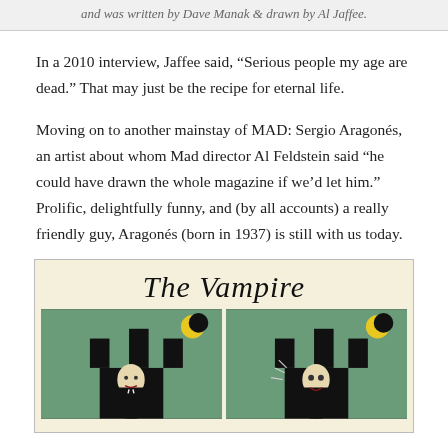and was written by Dave Manak & drawn by Al Jaffee.
In a 2010 interview, Jaffee said, “Serious people my age are dead.” That may just be the recipe for eternal life.
Moving on to another mainstay of MAD: Sergio Aragonés, an artist about whom Mad director Al Feldstein said “he could have drawn the whole magazine if we’d let him.” Prolific, delightfully funny, and (by all accounts) a really friendly guy, Aragonés (born in 1937) is still with us today.
[Figure (illustration): Comic strip panel titled 'The Vampire' in Gothic/blackletter font, showing two side-by-side comic panels with a vampire character against a green and black background with a crescent moon.]